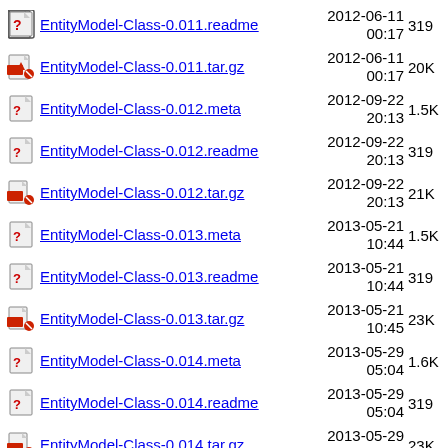EntityModel-Class-0.011.readme  2012-06-11 00:17  319
EntityModel-Class-0.011.tar.gz  2012-06-11 00:17  20K
EntityModel-Class-0.012.meta  2012-09-22 20:13  1.5K
EntityModel-Class-0.012.readme  2012-09-22 20:13  319
EntityModel-Class-0.012.tar.gz  2012-09-22 20:13  21K
EntityModel-Class-0.013.meta  2013-05-21 10:44  1.5K
EntityModel-Class-0.013.readme  2013-05-21 10:44  319
EntityModel-Class-0.013.tar.gz  2013-05-21 10:45  23K
EntityModel-Class-0.014.meta  2013-05-29 05:04  1.6K
EntityModel-Class-0.014.readme  2013-05-29 05:04  319
EntityModel-Class-0.014.tar.gz  2013-05-29 05:05  23K